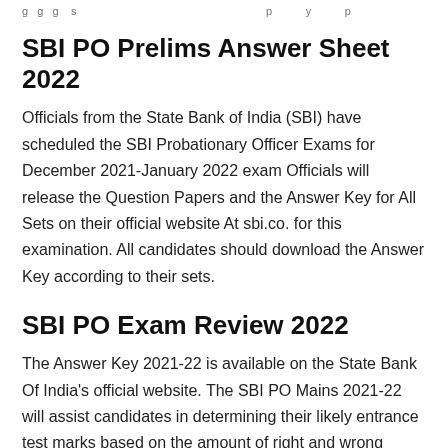…g…g…g… s… p… y… p…
SBI PO Prelims Answer Sheet 2022
Officials from the State Bank of India (SBI) have scheduled the SBI Probationary Officer Exams for December 2021-January 2022 exam Officials will release the Question Papers and the Answer Key for All Sets on their official website At sbi.co. for this examination. All candidates should download the Answer Key according to their sets.
SBI PO Exam Review 2022
The Answer Key 2021-22 is available on the State Bank Of India's official website. The SBI PO Mains 2021-22 will assist candidates in determining their likely entrance test marks based on the amount of right and wrong answers. It will also assist applicants in determining their test performance.